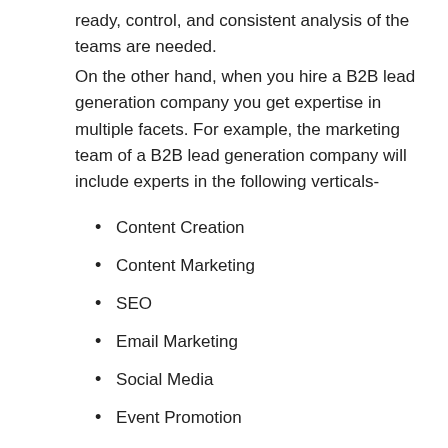ready, control, and consistent analysis of the teams are needed.
On the other hand, when you hire a B2B lead generation company you get expertise in multiple facets. For example, the marketing team of a B2B lead generation company will include experts in the following verticals-
Content Creation
Content Marketing
SEO
Email Marketing
Social Media
Event Promotion
Appointment Setting
Having an in-house team in all the above vertical would demand a high budget, resources, and time. Whereas, when you outsource your B2B lead generation, all you have to do is focus on results at a